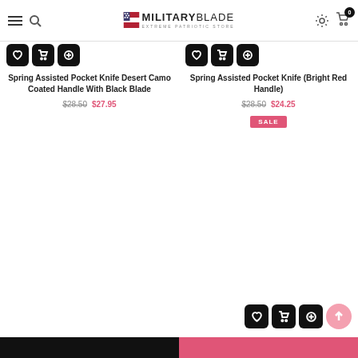MilitaryBlade Extreme Patriotic Store — navigation header with menu, search, logo, settings, and cart icons
Spring Assisted Pocket Knife Desert Camo Coated Handle With Black Blade — $28.50 $27.95
Spring Assisted Pocket Knife (Bright Red Handle) — $28.50 $24.25 SALE
Footer bar (dark left, pink right)